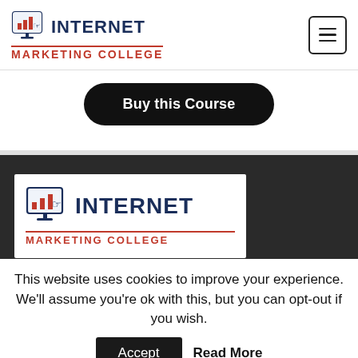[Figure (logo): Internet Marketing College logo with monitor/chart icon and hamburger menu button]
Buy this Course
[Figure (logo): Internet Marketing College logo repeated on white card over dark background section]
This website uses cookies to improve your experience. We'll assume you're ok with this, but you can opt-out if you wish.
Accept
Read More